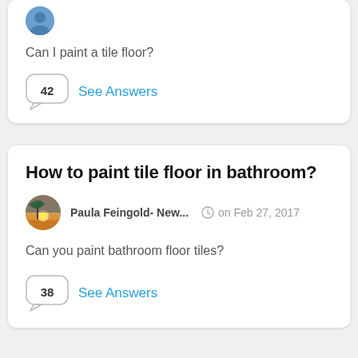Can I paint a tile floor?
42  See Answers
How to paint tile floor in bathroom?
Paula Feingold- New...   on Feb 27, 2017
Can you paint bathroom floor tiles?
38  See Answers